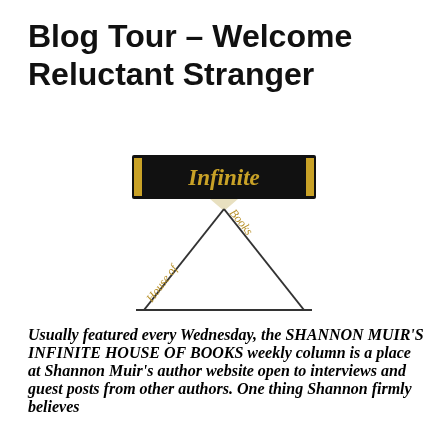Blog Tour – Welcome Reluctant Stranger
[Figure (logo): Infinite House of Books logo: a black banner with gold text reading 'Infinite' flanked by gold vertical bars, with two diagonal lines forming a roof/chevron shape below, and the words 'House of Books' written along the diagonal lines in gold script on a white background.]
Usually featured every Wednesday, the SHANNON MUIR'S INFINITE HOUSE OF BOOKS weekly column is a place at Shannon Muir's author website open to interviews and guest posts from other authors. One thing Shannon firmly believes